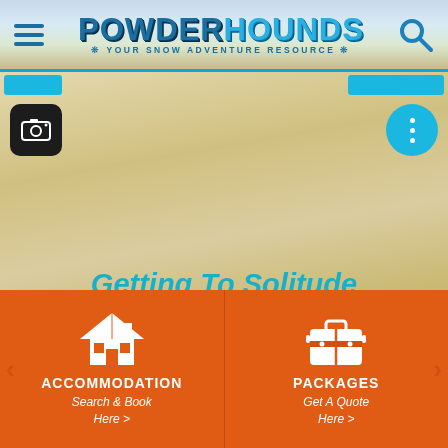[Figure (screenshot): PowderHounds website header with logo, hamburger menu, and search icon]
Getting To Solitude
[Figure (infographic): Accommodation card with house icon - Search & Book Here]
[Figure (infographic): Packages card with luggage icon - Get A Quote Here]